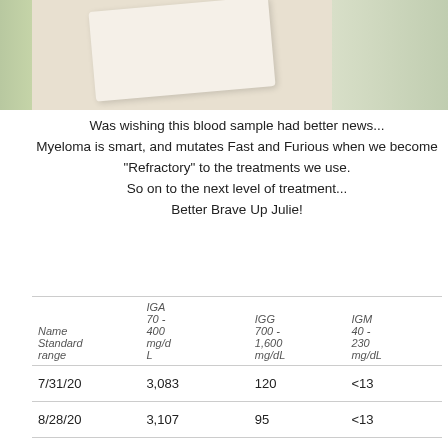[Figure (photo): Photo strip showing a blood sample vial on a textured surface with green/nature background on left and right sides]
Was wishing this blood sample had better news...
Myeloma is smart, and mutates Fast and Furious when we become "Refractory" to the treatments we use.
So on to the next level of treatment...
Better Brave Up Julie!
| Name Standard range | IGA 70-400 mg/dL | IGG 700-1,600 mg/dL | IGM 40-230 mg/dL |
| --- | --- | --- | --- |
| 7/31/20 | 3,083 | 120 | <13 |
| 8/28/20 | 3,107 | 95 | <13 |
| 9/27/20 | 3,525 | 60 | <13 |
| 10/25/20 | 5,066 | 65 | <13 |